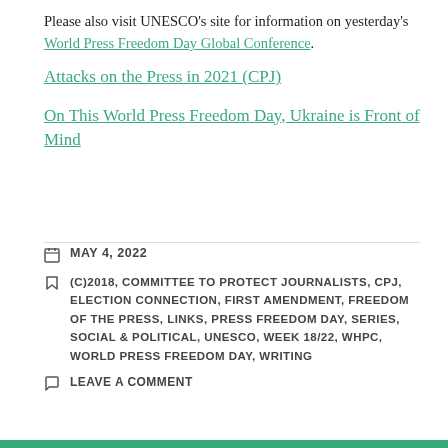Please also visit UNESCO's site for information on yesterday's World Press Freedom Day Global Conference.
Attacks on the Press in 2021 (CPJ)
On This World Press Freedom Day, Ukraine is Front of Mind
MAY 4, 2022
(C)2018, COMMITTEE TO PROTECT JOURNALISTS, CPJ, ELECTION CONNECTION, FIRST AMENDMENT, FREEDOM OF THE PRESS, LINKS, PRESS FREEDOM DAY, SERIES, SOCIAL & POLITICAL, UNESCO, WEEK 18/22, WHPC, WORLD PRESS FREEDOM DAY, WRITING
LEAVE A COMMENT